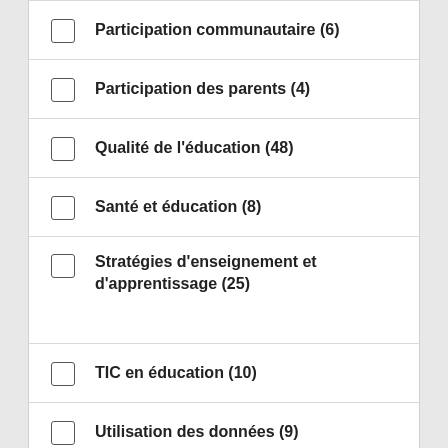Participation communautaire (6)
Participation des parents (4)
Qualité de l'éducation (48)
Santé et éducation (8)
Stratégies d'enseignement et d'apprentissage (25)
TIC en éducation (10)
Utilisation des données (9)